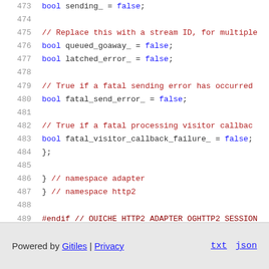[Figure (screenshot): Source code viewer showing C++ code lines 473-489 with line numbers, keywords in blue, comments in red/brown, and preprocessor directive. Code includes bool variable declarations and closing braces for namespaces.]
Powered by Gitiles | Privacy    txt  json